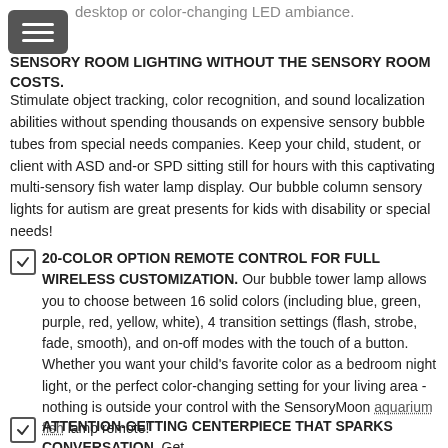desktop or color-changing LED ambiance.
SENSORY ROOM LIGHTING WITHOUT THE SENSORY ROOM COSTS.
Stimulate object tracking, color recognition, and sound localization abilities without spending thousands on expensive sensory bubble tubes from special needs companies. Keep your child, student, or client with ASD and-or SPD sitting still for hours with this captivating multi-sensory fish water lamp display. Our bubble column sensory lights for autism are great presents for kids with disability or special needs!
20-COLOR OPTION REMOTE CONTROL FOR FULL WIRELESS CUSTOMIZATION. Our bubble tower lamp allows you to choose between 16 solid colors (including blue, green, purple, red, yellow, white), 4 transition settings (flash, strobe, fade, smooth), and on-off modes with the touch of a button. Whether you want your child's favorite color as a bedroom night light, or the perfect color-changing setting for your living area - nothing is outside your control with the SensoryMoon aquarium fish lamp remote!
ATTENTION-GETTING CENTERPIECE THAT SPARKS CONVERSATION. Get